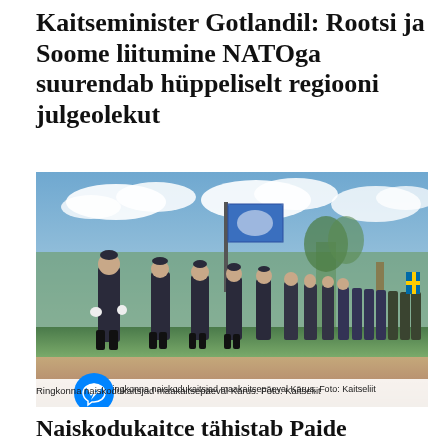Kaitseminister Gotlandil: Rootsi ja Soome liitumine NATOga suurendab hüppeliselt regiooni julgeolekut
[Figure (photo): Women in dark uniforms marching in formation, carrying a blue flag, at an outdoor military ceremony. Caption: Ringkonna naiskodukaitsjad maakaitsepäeval Kärus. Foto: Kaitseliit]
Ringkonna naiskodukaitsjad maakaitsepäeval Kärus. Foto: Kaitseliit
Naiskodukaitce tähistab Paide